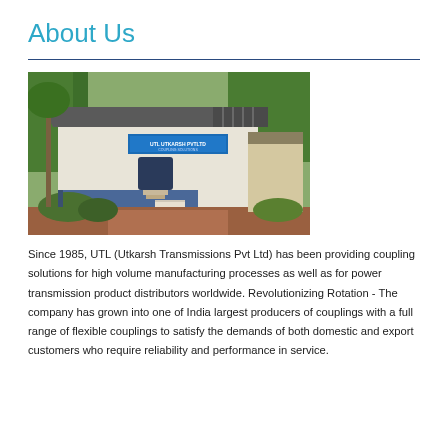About Us
[Figure (photo): Exterior photograph of UTL (Utkarsh Transmissions Pvt Ltd) factory/office building surrounded by trees and vegetation, with a signboard on the front wall.]
Since 1985, UTL (Utkarsh Transmissions Pvt Ltd) has been providing coupling solutions for high volume manufacturing processes as well as for power transmission product distributors worldwide. Revolutionizing Rotation - The company has grown into one of India largest producers of couplings with a full range of flexible couplings to satisfy the demands of both domestic and export customers who require reliability and performance in service.